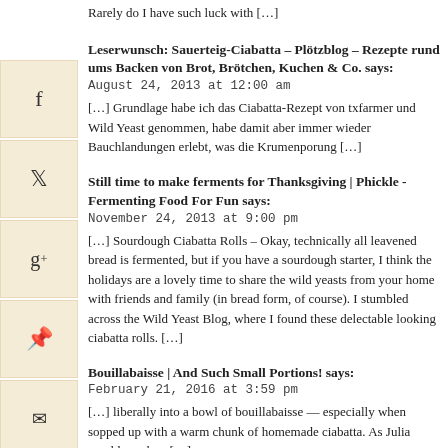Rarely do I have such luck with […]
Leserwunsch: Sauerteig-Ciabatta – Plötzblog – Rezepte rund ums Backen von Brot, Brötchen, Kuchen & Co. says:
August 24, 2013 at 12:00 am
[…] Grundlage habe ich das Ciabatta-Rezept von txfarmer und Wild Yeast genommen, habe damit aber immer wieder Bauchlandungen erlebt, was die Krumenporung […]
Still time to make ferments for Thanksgiving | Phickle - Fermenting Food For Fun says:
November 24, 2013 at 9:00 pm
[…] Sourdough Ciabatta Rolls – Okay, technically all leavened bread is fermented, but if you have a sourdough starter, I think the holidays are a lovely time to share the wild yeasts from your home with friends and family (in bread form, of course).  I stumbled across the Wild Yeast Blog, where I found these delectable looking ciabatta rolls. […]
Bouillabaisse | And Such Small Portions! says:
February 21, 2016 at 3:59 pm
[…] liberally into a bowl of bouillabaisse — especially when sopped up with a warm chunk of homemade ciabatta. As Julia would say, bon […]
Ek?i Mayal? Ciabatta – NeoMutfak says:
March 25, 2017 at 1:30 am
[…] Rant… still… at this point […]